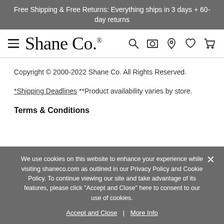Free Shipping & Free Returns: Everything ships in 3 days + 60-day returns
[Figure (logo): Shane Co. logo with hamburger menu icon and navigation icons (search, camera, location, heart, cart)]
Copyright © 2000-2022 Shane Co. All Rights Reserved.
*Shipping Deadlines **Product availability varies by store.
Terms & Conditions
We use cookies on this website to enhance your experience while visiting shaneco.com as outlined in our Privacy Policy and Cookie Policy. To continue viewing our site and take advantage of its features, please click "Accept and Close" here to consent to our use of cookies.
Accept and Close | More Info